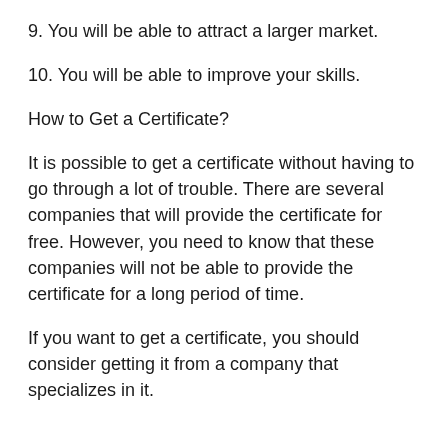9. You will be able to attract a larger market.
10. You will be able to improve your skills.
How to Get a Certificate?
It is possible to get a certificate without having to go through a lot of trouble. There are several companies that will provide the certificate for free. However, you need to know that these companies will not be able to provide the certificate for a long period of time.
If you want to get a certificate, you should consider getting it from a company that specializes in it.